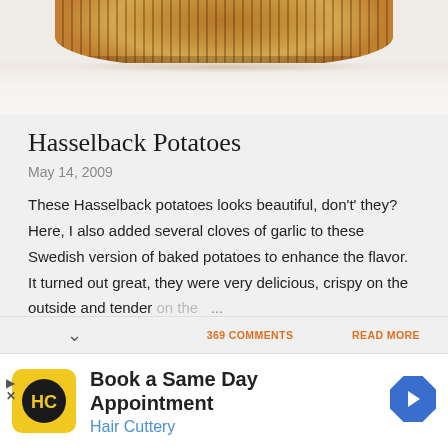[Figure (photo): Close-up photo of a Hasselback potato on a white plate, showing crispy ridged top, golden-brown color]
Hasselback Potatoes
May 14, 2009
These Hasselback potatoes looks beautiful, don't' they? Here, I also added several cloves of garlic to these Swedish version of baked potatoes to enhance the flavor. It turned out great, they were very delicious, crispy on the outside and tender on the ...
369 COMMENTS
READ MORE
[Figure (infographic): Advertisement for Hair Cuttery: Book a Same Day Appointment, showing Hair Cuttery logo and navigation arrow icon]